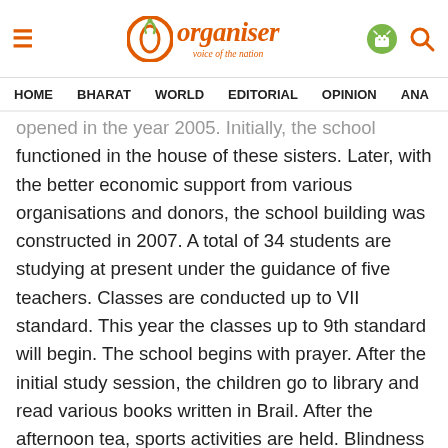Organiser — voice of the nation | HOME  BHARAT  WORLD  EDITORIAL  OPINION  ANA
opened in the year 2005. Initially, the school functioned in the house of these sisters. Later, with the better economic support from various organisations and donors, the school building was constructed in 2007. A total of 34 students are studying at present under the guidance of five teachers. Classes are conducted up to VII standard. This year the classes up to 9th standard will begin. The school begins with prayer. After the initial study session, the children go to library and read various books written in Brail. After the afternoon tea, sports activities are held. Blindness does not become a hurdle in the enhancement of their sports skills. In the evening, they study sincerely and after studies